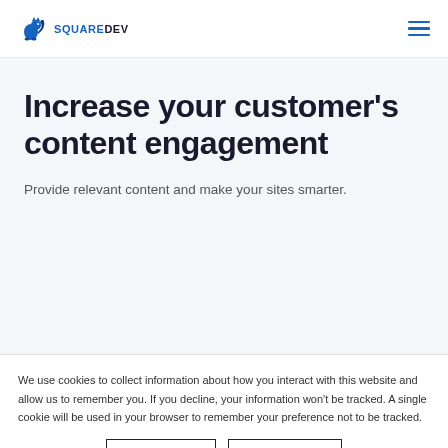SQUAREDEV
Increase your customer's content engagement
Provide relevant content and make your sites smarter.
We use cookies to collect information about how you interact with this website and allow us to remember you. If you decline, your information won't be tracked. A single cookie will be used in your browser to remember your preference not to be tracked.